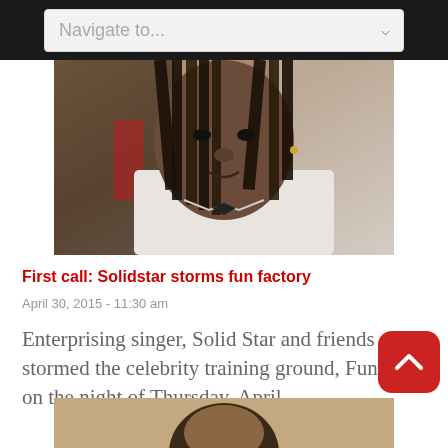Navigate to...
[Figure (photo): Portrait photo of Solidstar, a man with long braided dreadlocks wearing a white dress shirt and bow tie, looking at the camera]
First call: Solidstar storms fun factory
April 30, 2015 - 11:30 am
Enterprising singer, Solid Star and friends stormed the celebrity training ground, Fun Turf on the night of Thursday, April …
[Figure (photo): Partial view of another person's head/portrait photo, cropped at bottom of page]